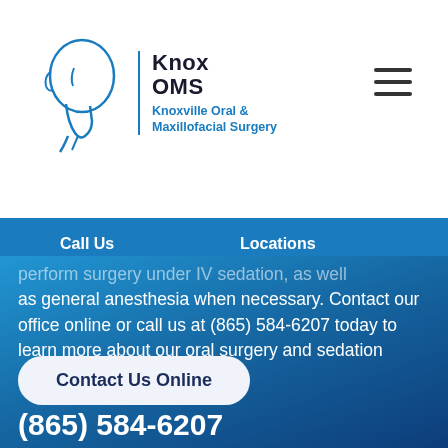[Figure (logo): Knox OMS logo with stylized head profile in blue and text 'Knox OMS' with 'Knoxville Oral & Maxillofacial Surgery']
[Figure (illustration): Hamburger menu icon (three horizontal lines) in dark color, top right of header]
Call Us
Locations
perform surgery under IV sedation, as well as general anesthesia when necessary. Contact our office online or call us at (865) 584-6207 today to learn more about our oral surgery and sedation services.
Contact Us Online
(865) 584-6207